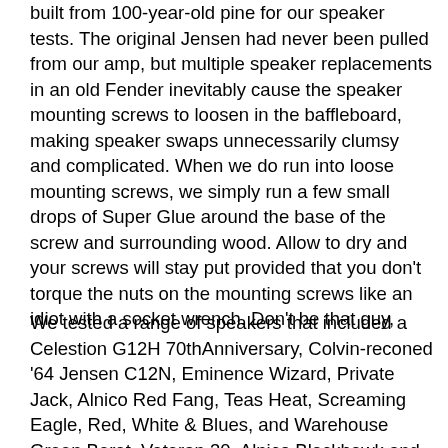built from 100-year-old pine for our speaker tests. The original Jensen had never been pulled from our amp, but multiple speaker replacements in an old Fender inevitably cause the speaker mounting screws to loosen in the baffleboard, making speaker swaps unnecessarily clumsy and complicated. When we do run into loose mounting screws, we simply run a few small drops of Super Glue around the base of the screw and surrounding wood. Allow to dry and your screws will stay put provided that you don't torque the nuts on the mounting screws like an idiot with a socket wrench. Don't be that guy,
We tested a range of speakers that included a Celestion G12H 70thAnniversary, Colvin-reconed '64 Jensen C12N, Eminence Wizard, Private Jack, Alnico Red Fang, Teas Heat, Screaming Eagle, Red, White & Blues, and Warehouse Green Beret, Veteran 30, Alnico Blackhawk and Alnico Black & Blue. The Alnico...